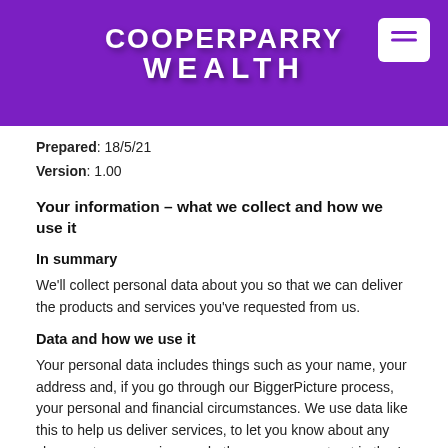[Figure (logo): CooperParry Wealth logo on purple banner with menu button]
Prepared: 18/5/21
Version: 1.00
Your information – what we collect and how we use it
In summary
We'll collect personal data about you so that we can deliver the products and services you've requested from us.
Data and how we use it
Your personal data includes things such as your name, your address and, if you go through our BiggerPicture process, your personal and financial circumstances. We use data like this to help us deliver services, to let you know about any changes to our services and other purposes set out in the In detail section